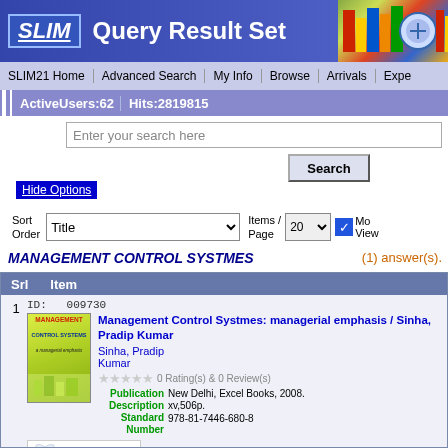SLIM Query Result Set
SLIM21 Home | Advanced Search | My Info | Browse | Arrivals | Expe
ActiveUsers:62  Hits:2819815
Enter your search here
Hide Options
Sort Order: Title  Items / Page: 20  Mo View
MANAGEMENT CONTROL SYSTMES
(1) answer(s).
| Srl | Item |
| --- | --- |
| 1 | ID: 009730
Management Control Systmes: managerial emphasis / Sinha, Pradip Kumar
Sinha, Pradip Kumar
0 Rating(s) & 0 Review(s)
Publication: New Delhi, Excel Books, 2008.
Description: xv,506p.
Standard Number: 978-81-7446-680-8 |